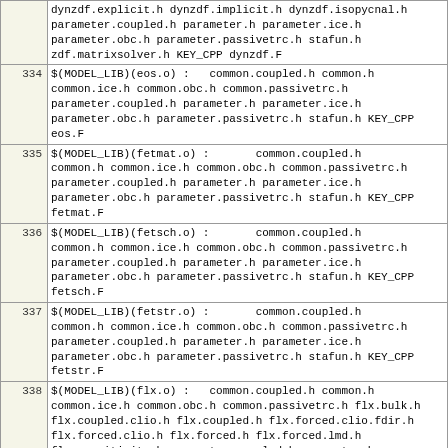| line | content |
| --- | --- |
|  | dynzdf.explicit.h dynzdf.implicit.h dynzdf.isopycnal.h parameter.coupled.h parameter.h parameter.ice.h parameter.obc.h parameter.passivetrc.h stafun.h zdf.matrixsolver.h KEY_CPP dynzdf.F |
| 334 | $(MODEL_LIB)(eos.o) :   common.coupled.h common.h common.ice.h common.obc.h common.passivetrc.h parameter.coupled.h parameter.h parameter.ice.h parameter.obc.h parameter.passivetrc.h stafun.h KEY_CPP eos.F |
| 335 | $(MODEL_LIB)(fetmat.o) :       common.coupled.h common.h common.ice.h common.obc.h common.passivetrc.h parameter.coupled.h parameter.h parameter.ice.h parameter.obc.h parameter.passivetrc.h stafun.h KEY_CPP fetmat.F |
| 336 | $(MODEL_LIB)(fetsch.o) :       common.coupled.h common.h common.ice.h common.obc.h common.passivetrc.h parameter.coupled.h parameter.h parameter.ice.h parameter.obc.h parameter.passivetrc.h stafun.h KEY_CPP fetsch.F |
| 337 | $(MODEL_LIB)(fetstr.o) :       common.coupled.h common.h common.ice.h common.obc.h common.passivetrc.h parameter.coupled.h parameter.h parameter.ice.h parameter.obc.h parameter.passivetrc.h stafun.h KEY_CPP fetstr.F |
| 338 | $(MODEL_LIB)(flx.o) :   common.coupled.h common.h common.ice.h common.obc.h common.passivetrc.h flx.bulk.h flx.coupled.clio.h flx.coupled.h flx.forced.clio.fdir.h flx.forced.clio.h flx.forced.h flx.forced.lmd.h flx.sensitivity.h parameter.coupled.h parameter.h parameter.ice.h parameter.obc.h parameter.passivetrc.h stafun.h KEY_CPP flx.F |
| 339 | $(MODEL_LIB)(flxrnf.o) :       common.coupled.h common.h common.ice.h common.obc.h common.passivetrc.h flxrnf.orca.r05.h parameter.coupled.h parameter.h parameter.ice.h parameter.passivetrc.h stafun.h ../../../lib/libioipsl.a KEY_CPP flxrnf.F |
| 340 | $(MODEL_LIB)(fxathre) :        common.coupled.h common.obc.h parameter.ice.h ... |